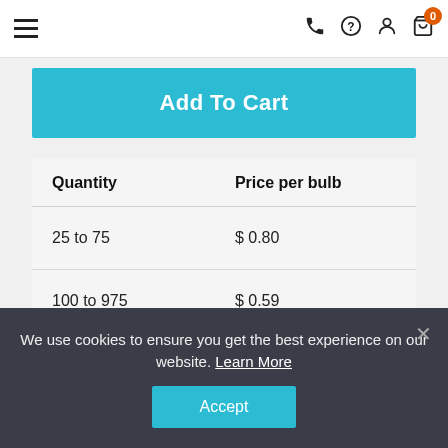Navigation bar with hamburger menu, phone, help, account, and cart icons (cart badge: 0)
Add To Cart
| Quantity | Price per bulb |
| --- | --- |
| 25 to 75 | $ 0.80 |
| 100 to 975 | $ 0.59 |
| 1000 to 4975 | $ 0.52 |
We use cookies to ensure you get the best experience on our website. Learn More
Accept